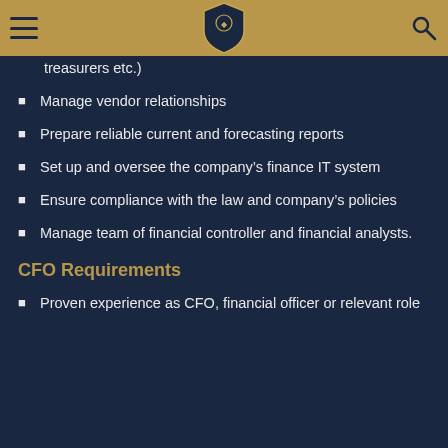treasurers etc.)
Manage vendor relationships
Prepare reliable current and forecasting reports
Set up and oversee the company's finance IT system
Ensure compliance with the law and company's policies
Manage team of financial controller and financial analysts.
CFO Requirements
Proven experience as CFO, financial officer or relevant role